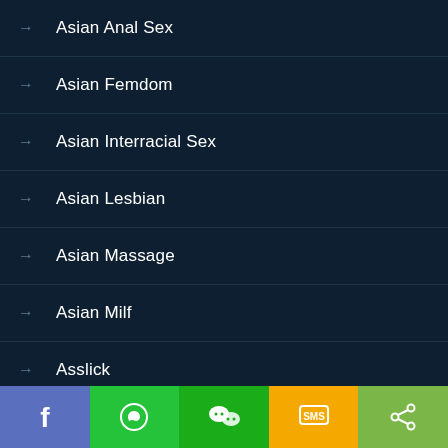Asian Anal Sex
Asian Femdom
Asian Interracial Sex
Asian Lesbian
Asian Massage
Asian Milf
Asslick
B
BBC (Big Black Cock)